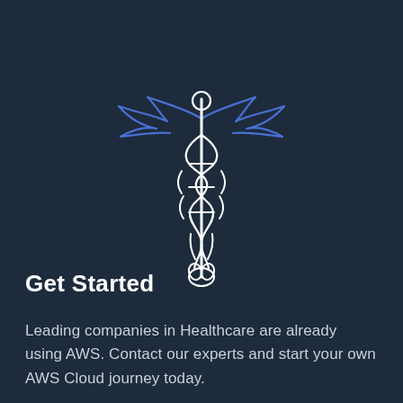[Figure (illustration): Caduceus medical symbol — a winged staff with two serpents entwined around it. The wings are rendered in blue outline; the staff and serpents are in white outline. Set against a dark navy background.]
Get Started
Leading companies in Healthcare are already using AWS. Contact our experts and start your own AWS Cloud journey today.